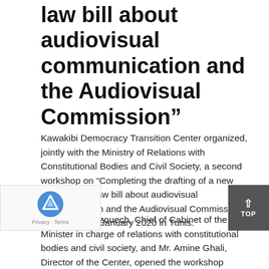law bill about audiovisual communication and the Audiovisual Commission”
Kawakibi Democracy Transition Center organized, jointly with the Ministry of Relations with Constitutional Bodies and Civil Society, a second workshop on “Completing the drafting of a new fundamental law bill about audiovisual communication and the Audiovisual Commission” on 12 and 13, January 2020 in Tunis.
Ms. Sana Bouzouech, Chief of Cabinet of the Minister in charge of relations with constitutional bodies and civil society, and Mr. Amine Ghali, Director of the Center, opened the workshop